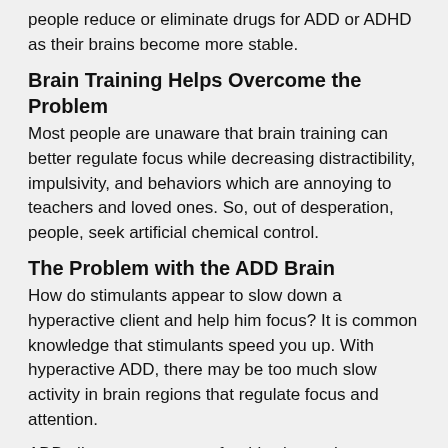people reduce or eliminate drugs for ADD or ADHD as their brains become more stable.
Brain Training Helps Overcome the Problem
Most people are unaware that brain training can better regulate focus while decreasing distractibility, impulsivity, and behaviors which are annoying to teachers and loved ones. So, out of desperation, people, seek artificial chemical control.
The Problem with the ADD Brain
How do stimulants appear to slow down a hyperactive client and help him focus? It is common knowledge that stimulants speed you up. With hyperactive ADD, there may be too much slow activity in brain regions that regulate focus and attention.
ADD clients compensate for this slower-than-normal brain activity by stimulating their brains with constant body movement to “wake their brain up”. Stimulants increase brain activity so one can focus without the constant body movement. Slow activity in certain brain regions is also associated with lack of motivation, distractibility, inattention, depression, and worry.
Example: